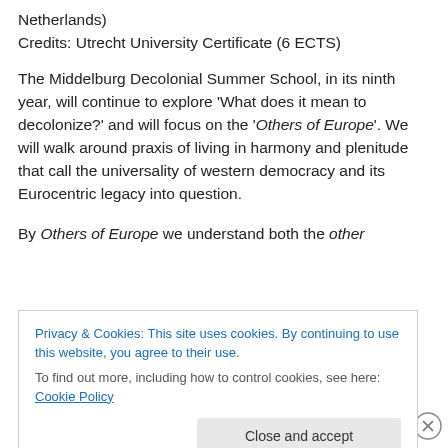Netherlands)
Credits: Utrecht University Certificate (6 ECTS)
The Middelburg Decolonial Summer School, in its ninth year, will continue to explore ‘What does it mean to decolonize?’ and will focus on the ‘Others of Europe’. We will walk around praxis of living in harmony and plenitude that call the universality of western democracy and its Eurocentric legacy into question.
By Others of Europe we understand both the other Europe inside, silenced and shattered by the narratives...
Privacy & Cookies: This site uses cookies. By continuing to use this website, you agree to their use.
To find out more, including how to control cookies, see here: Cookie Policy
Close and accept
Eurocentered Europe within European territories, as well